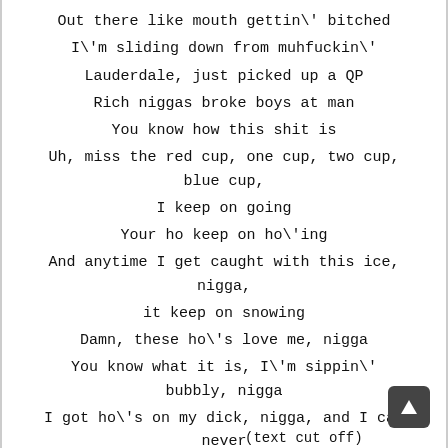Out there like mouth gettin\' bitched
I\'m sliding down from muhfuckin\'
Lauderdale, just picked up a QP
Rich niggas broke boys at man
You know how this shit is
Uh, miss the red cup, one cup, two cup, blue cup,
I keep on going
Your ho keep on ho\'ing
And anytime I get caught with this ice, nigga,
it keep on snowing
Damn, these ho\'s love me, nigga
You know what it is, I\'m sippin\' bubbly, nigga
I got ho\'s on my dick, nigga, and I can never
stop it (Why?)
(partially cut off at bottom)